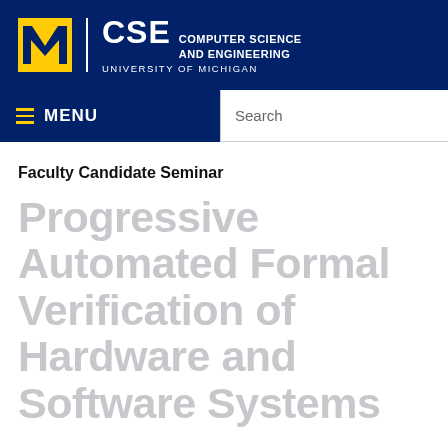[Figure (logo): University of Michigan CSE header logo with block M and text: CSE Computer Science and Engineering University of Michigan on dark navy background]
≡ MENU   Search
Faculty Candidate Seminar
Progressive Automated Formal Verification of Hardware and Software Systems
Yatin Manerkar